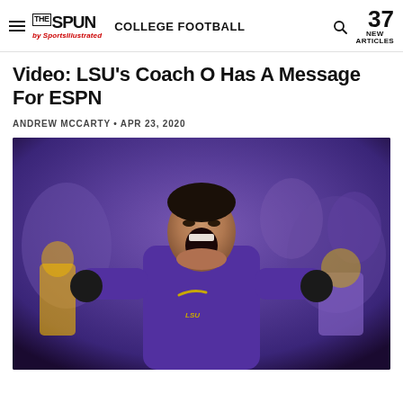THE SPUN by Sports Illustrated — COLLEGE FOOTBALL — 37 NEW ARTICLES
Video: LSU's Coach O Has A Message For ESPN
ANDREW MCCARTY • APR 23, 2020
[Figure (photo): LSU head coach Ed Orgeron in a purple LSU hoodie, mouth open wide shouting, with coaches and players in purple LSU uniforms visible in the blurred background on what appears to be a football sideline at night]